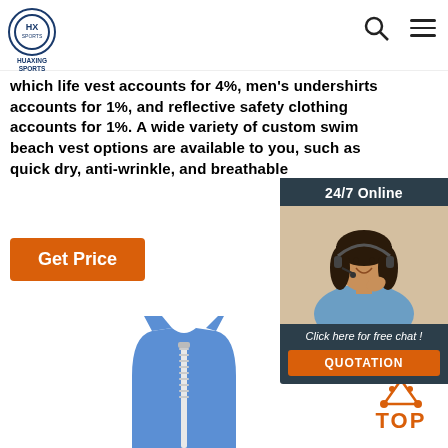HUAXING SPORTS
which life vest accounts for 4%, men's undershirts accounts for 1%, and reflective safety clothing accounts for 1%. A wide variety of custom swim beach vest options are available to you, such as quick dry, anti-wrinkle, and breathable
Get Price
[Figure (photo): 24/7 Online chat widget with a smiling woman wearing a headset, dark background, with 'Click here for free chat!' text and QUOTATION button]
[Figure (photo): Blue sleeveless athletic vest/shirt with zipper, photographed on white background]
[Figure (other): TOP button with orange triangle/dots icon and orange TOP text]